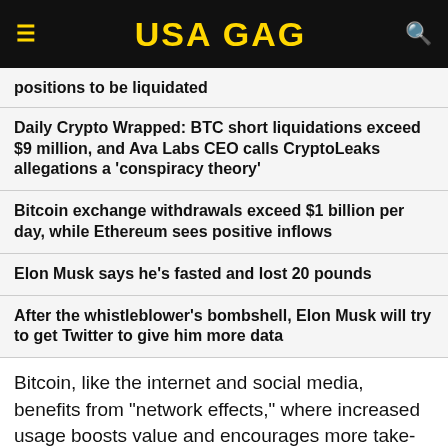USA GAG
positions to be liquidated
Daily Crypto Wrapped: BTC short liquidations exceed $9 million, and Ava Labs CEO calls CryptoLeaks allegations a 'conspiracy theory'
Bitcoin exchange withdrawals exceed $1 billion per day, while Ethereum sees positive inflows
Elon Musk says he's fasted and lost 20 pounds
After the whistleblower's bombshell, Elon Musk will try to get Twitter to give him more data
Bitcoin, like the internet and social media, benefits from "network effects," where increased usage boosts value and encourages more take-up.